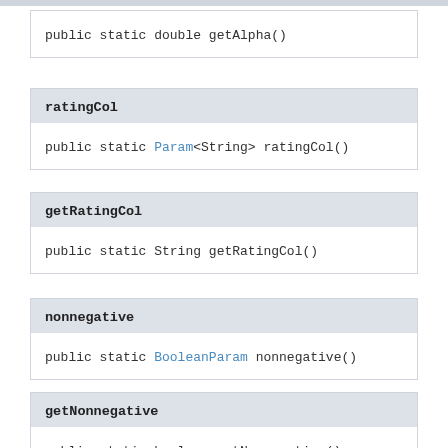public static double getAlpha()
ratingCol
public static Param<String> ratingCol()
getRatingCol
public static String getRatingCol()
nonnegative
public static BooleanParam nonnegative()
getNonnegative
public static boolean getNonnegative()